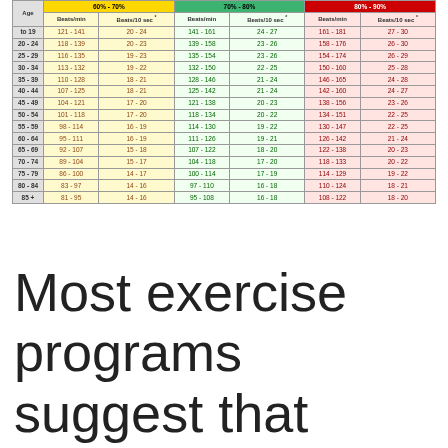| Age | Beats/min (60-70%) | Beats/10 sec (60-70%) | Beats/min (70-80%) | Beats/10 sec (70-80%) | Beats/min (80-90%) | Beats/10 sec (80-90%) |
| --- | --- | --- | --- | --- | --- | --- |
| to 19 | 121 - 141 | 20 - 24 | 141 - 161 | 24 - 27 | 161 - 181 | 27 - 30 |
| 20 - 24 | 118 - 139 | 20 - 23 | 139 - 158 | 23 - 26 | 158 - 176 | 26 - 30 |
| 25 - 29 | 116 - 135 | 19 - 23 | 135 - 154 | 23 - 26 | 154 - 174 | 26 - 29 |
| 30 - 34 | 113 - 132 | 19 - 22 | 132 - 150 | 22 - 25 | 150 - 160 | 25 - 28 |
| 35 - 39 | 110 - 128 | 18 - 21 | 128 - 146 | 21 - 24 | 146 - 165 | 24 - 28 |
| 40 - 44 | 107 - 125 | 18 - 21 | 125 - 142 | 21 - 24 | 142 - 160 | 24 - 27 |
| 45 - 49 | 104 - 121 | 17 - 20 | 121 - 138 | 20 - 23 | 138 - 156 | 23 - 26 |
| 50 - 54 | 101 - 118 | 17 - 20 | 118 - 134 | 20 - 22 | 134 - 151 | 22 - 25 |
| 55 - 59 | 98 - 114 | 16 - 19 | 114 - 130 | 19 - 22 | 130 - 147 | 22 - 25 |
| 60 - 64 | 95 - 111 | 16 - 19 | 111 - 126 | 19 - 21 | 126 - 142 | 21 - 24 |
| 65 - 69 | 92 - 107 | 15 - 18 | 107 - 122 | 18 - 20 | 122 - 138 | 20 - 23 |
| 70 - 74 | 89 - 104 | 15 - 17 | 104 - 118 | 17 - 20 | 118 - 133 | 20 - 22 |
| 75 - 79 | 86 - 100 | 14 - 17 | 100 - 114 | 17 - 19 | 114 - 129 | 19 - 22 |
| 80 - 84 | 83 - 97 | 14 - 16 | 97 - 110 | 16 - 18 | 110 - 124 | 18 - 21 |
| 85 + | 81 - 95 | 14 - 16 | 95 - 108 | 16 - 18 | 108 - 122 | 18 - 20 |
Most exercise programs suggest that when someone